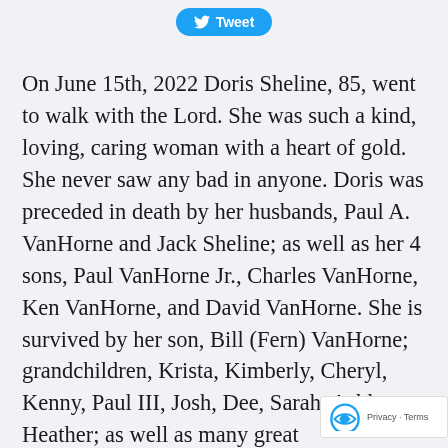[Figure (screenshot): Twitter Tweet button in blue rounded rectangle]
On June 15th, 2022 Doris Sheline, 85, went to walk with the Lord. She was such a kind, loving, caring woman with a heart of gold. She never saw any bad in anyone. Doris was preceded in death by her husbands, Paul A. VanHorne and Jack Sheline; as well as her 4 sons, Paul VanHorne Jr., Charles VanHorne, Ken VanHorne, and David VanHorne. She is survived by her son, Bill (Fern) VanHorne; grandchildren, Krista, Kimberly, Cheryl, Kenny, Paul III, Josh, Dee, Sarah, Ashley, Heather; as well as many great grandchildren...